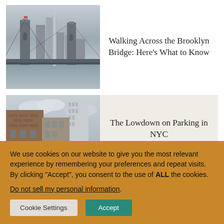[Figure (photo): Photograph of the Brooklyn Bridge with Manhattan skyline in background, grey tones, water in foreground]
Walking Across the Brooklyn Bridge: Here's What to Know
[Figure (photo): Photograph of NYC buildings and street, urban scene with brick buildings and cloudy sky]
The Lowdown on Parking in NYC
We use cookies on our website to give you the most relevant experience by remembering your preferences and repeat visits. By clicking “Accept”, you consent to the use of ALL the cookies.
Do not sell my personal information.
Cookie Settings
Accept